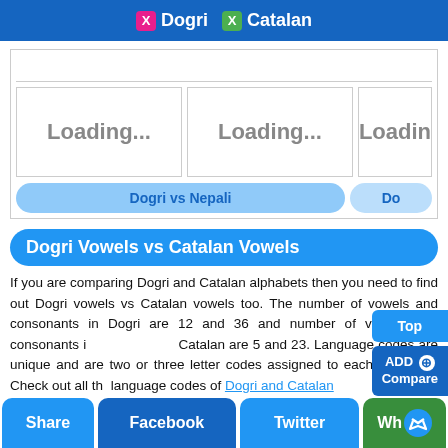X Dogri  X Catalan
[Figure (screenshot): Three loading cards showing 'Loading...' text in bordered boxes, with a 'Dogri vs Nepali' compare button below]
Dogri Vowels vs Catalan Vowels
If you are comparing Dogri and Catalan alphabets then you need to find out Dogri vowels vs Catalan vowels too. The number of vowels and consonants in Dogri are 12 and 36 and number of vowels and consonants in Catalan are 5 and 23. Language codes are unique and are two or three letter codes assigned to each language. Check out all the language codes of Dogri and Catalan
Share  Facebook  Twitter  Wh